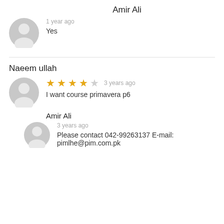Amir Ali
[Figure (illustration): Gray circular avatar icon (person silhouette)]
1 year ago
Yes
Naeem ullah
[Figure (illustration): Gray circular avatar icon (person silhouette)]
3 years ago
I want course primavera p6
Amir Ali
[Figure (illustration): Gray circular avatar icon (person silhouette)]
3 years ago
Please contact 042-99263137 E-mail: pimlhe@pim.com.pk